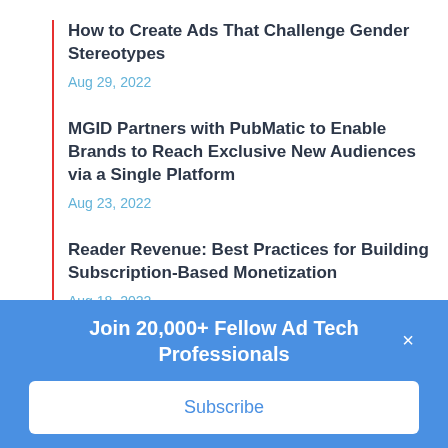How to Create Ads That Challenge Gender Stereotypes
Aug 29, 2022
MGID Partners with PubMatic to Enable Brands to Reach Exclusive New Audiences via a Single Platform
Aug 23, 2022
Reader Revenue: Best Practices for Building Subscription-Based Monetization
Aug 18, 2022
Join 20,000+ Fellow Ad Tech Professionals
Subscribe